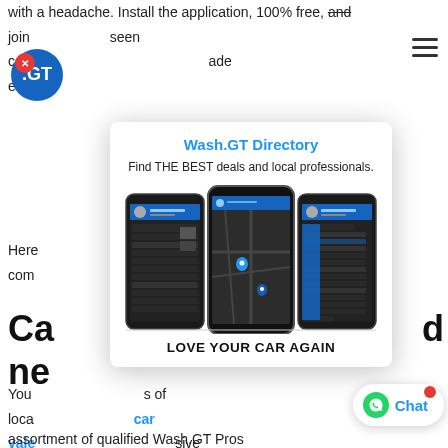with a headache. Install the application, 100% free, and join the platform to get access to a new kind of seen com...ade easy
Wash.GT Directory
Find THE BEST deals and local professionals.
[Figure (screenshot): Three smartphones showing the Wash.GT mobile application interface. The left phone shows a menu/profile screen, the center phone shows a map view with location pins, and the right phone shows a services/menu listing screen.]
LOVE YOUR CAR AGAIN
Here...adds com...ed.
Ca...d ne...
You...s of loca...car vale...sive assortment of qualified Wash.GT Pros Town to choose from and each of them will offer